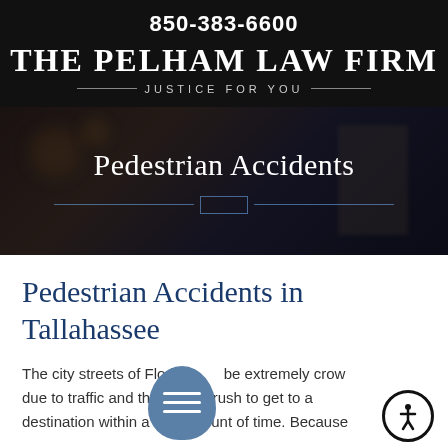850-383-6600
THE PELHAM LAW FIRM
JUSTICE FOR YOU
[Figure (photo): Dark hero banner with scales of justice imagery, showing 'Pedestrian Accidents' title with decorative horizontal line and small rectangle divider]
Pedestrian Accidents in Tallahassee
The city streets of Florida can be extremely crowded due to traffic and the everyday rush to get to a destination within a certain amount of time. Because